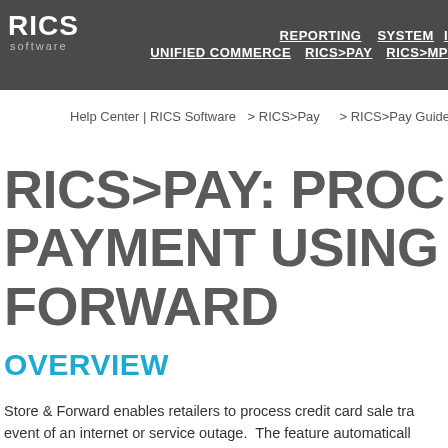REPORTING  SYSTEM  I   UNIFIED COMMERCE  RICS>PAY  RICS>MP
Help Center | RICS Software  > RICS>Pay  > RICS>Pay Guides
RICS>PAY: PROCESSING PAYMENT USING STORE & FORWARD
OVERVIEW
Store & Forward enables retailers to process credit card sale tra event of an internet or service outage.  The feature automaticall